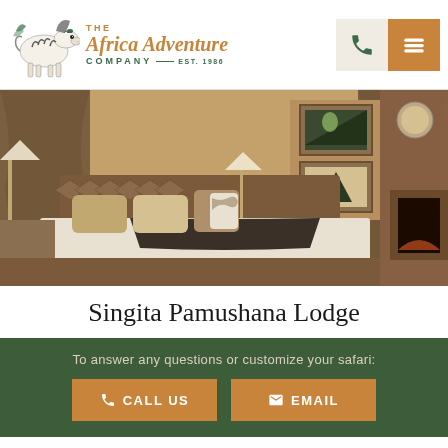[Figure (logo): The Africa Adventure Company logo with zebra illustration and text]
[Figure (photo): Luxury safari lodge bedroom interior with large white bed, decorative pillows, floor lamps, African artwork on walls, and fireplace]
Singita Pamushana Lodge
To answer any questions or customize your safari:
CALL US
EMAIL